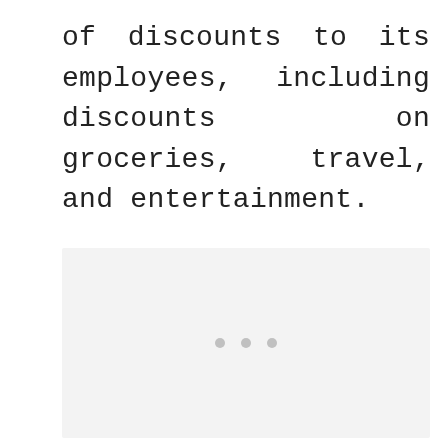of discounts to its employees, including discounts on groceries, travel, and entertainment.
[Figure (other): Light grey placeholder image box with three small grey dots centered near the lower middle of the box, indicating a loading or placeholder state.]